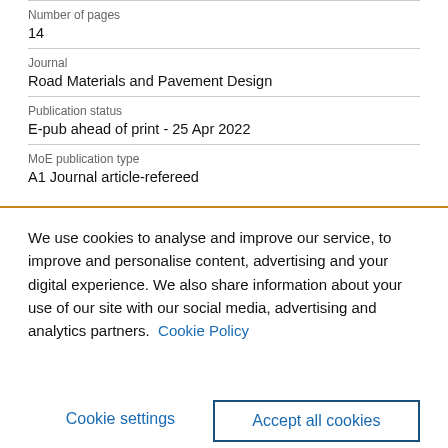Number of pages
14
Journal
Road Materials and Pavement Design
Publication status
E-pub ahead of print - 25 Apr 2022
MoE publication type
A1 Journal article-refereed
We use cookies to analyse and improve our service, to improve and personalise content, advertising and your digital experience. We also share information about your use of our site with our social media, advertising and analytics partners.  Cookie Policy
Cookie settings
Accept all cookies